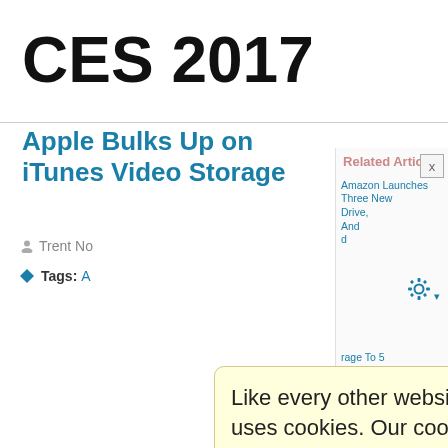CES 2017
Apple Bulks Up on iTunes Video Storage
Trent No[...]
Tags: A[...]
Related Articles
Amazon Launches Three New [...]Drive, And[...] d
[...]rage To 5
[...]eresting [...] Player
[...]On Cloud
[...]More [...] Money
Like every other website on the planet, SmallNetBuilder uses cookies. Our cookies track login status, but we only allow admins to log in anyway, so those don't apply to you. Any other cookies you pick up during your visit come from advertisers, which we don't control.
If you continue to use the site, you agree to tolerate our use of cookies. Thank you!